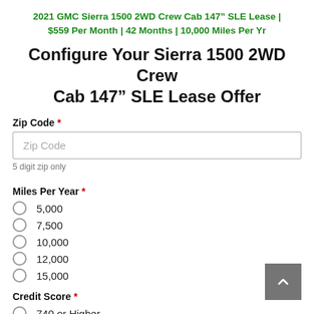2021 GMC Sierra 1500 2WD Crew Cab 147″ SLE Lease | $559 Per Month | 42 Months | 10,000 Miles Per Yr
Configure Your Sierra 1500 2WD Crew Cab 147″ SLE Lease Offer
Zip Code *
Zip Code (placeholder)
5 digit zip only
Miles Per Year *
5,000
7,500
10,000
12,000
15,000
Credit Score *
740 or Higher